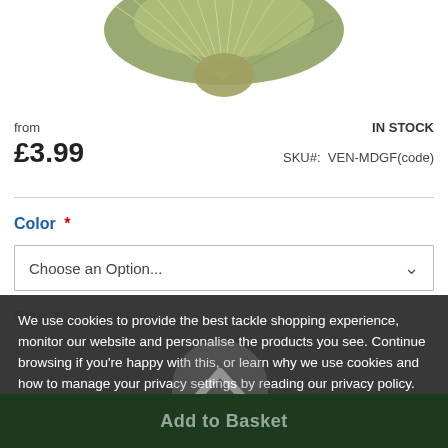[Figure (photo): Partial view of a fishing fly/feather lure product image at the top of the page, cropped at the top edge]
from
IN STOCK
£3.99
SKU#:  VEN-MDGF(code)
Color *
Choose an Option...
Size *
We use cookies to provide the best tackle shopping experience, monitor our website and personalise the products you see. Continue browsing if you're happy with this, or learn why we use cookies and how to manage your privacy settings by reading our privacy policy.
Dismiss
Add to Basket